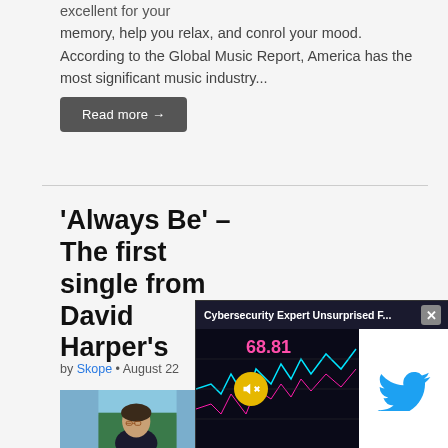excellent for your memory, help you relax, and conrol your mood. According to the Global Music Report, America has the most significant music industry...
Read more →
'Always Be' – The first single from David Harper's
by Skope • August 22
[Figure (photo): Photo of David Harper, a man with glasses and curly hair outdoors with trees in background]
[Figure (screenshot): Ad overlay showing 'Cybersecurity Expert Unsurprised F...' with stock trading chart, price 68.81, mute button, and Twitter bird logo on white panel, with close X button]